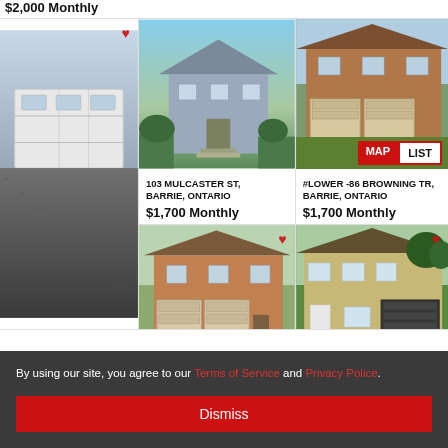$2,000 Monthly
[Figure (photo): Garage with white door and gravel driveway]
[Figure (photo): Blue/grey house exterior with garden and steps - 103 Mulcaster St]
103 MULCASTER ST, BARRIE, ONTARIO $1,700 Monthly
[Figure (photo): Brick house with two-car garage and beige car in driveway]
[Figure (photo): Brown brick two-storey house with MAP/LIST overlay buttons - #Lower -86 Browning Tr]
#LOWER -86 BROWNING TR, BARRIE, ONTARIO $1,700 Monthly
[Figure (photo): Tan/beige house with dark garage and red SUV]
By using our site, you agree to our Terms of Service and Privacy Police.
Dismiss